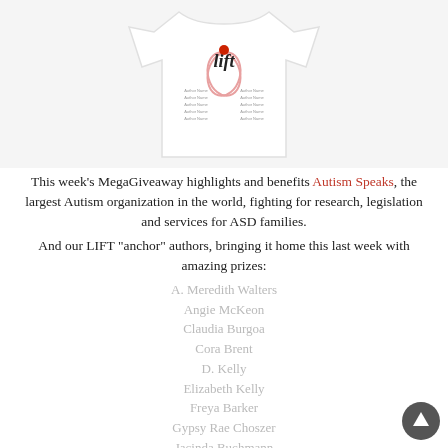[Figure (photo): White t-shirt with LIFT design featuring an autism awareness ribbon and red balloon, with text listing author names on the shirt graphic]
This week's MegaGiveaway highlights and benefits Autism Speaks, the largest Autism organization in the world, fighting for research, legislation and services for ASD families.
And our LIFT "anchor" authors, bringing it home this last week with amazing prizes:
A. Meredith Walters
Angie McKeon
Claudia Burgoa
Cora Brent
D. Kelly
Elizabeth Kelly
Freya Barker
Gypsy Rae Choszer
Jacinda Buchmann